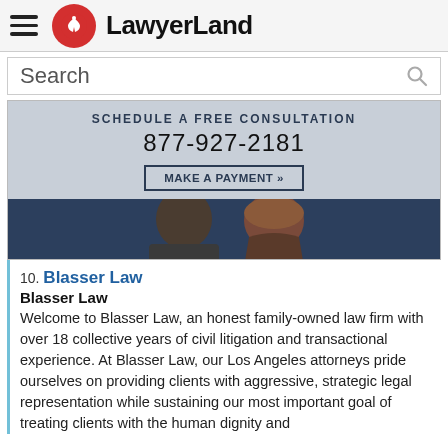LawyerLand
Search
[Figure (screenshot): Law firm banner showing 'SCHEDULE A FREE CONSULTATION', phone number 877-927-2181, a 'MAKE A PAYMENT »' button, and two people (attorneys) partially visible at the bottom against a dark background.]
10. Blasser Law
Blasser Law
Welcome to Blasser Law, an honest family-owned law firm with over 18 collective years of civil litigation and transactional experience. At Blasser Law, our Los Angeles attorneys pride ourselves on providing clients with aggressive, strategic legal representation while sustaining our most important goal of treating clients with the human dignity and